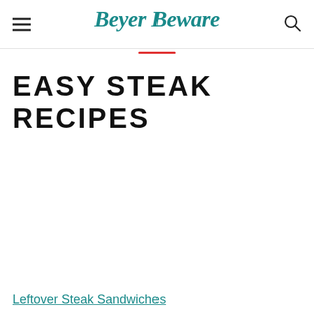Beyer Beware
EASY STEAK RECIPES
Leftover Steak Sandwiches